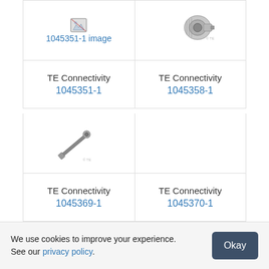[Figure (photo): Broken image placeholder link reading '1045351-1 image']
[Figure (photo): Photo of a metal RF connector, cylindrical shape with threaded end]
TE Connectivity
1045351-1
TE Connectivity
1045358-1
[Figure (photo): Photo of a small metal probe or pin connector on a diagonal]
[Figure (photo): Empty product image cell]
TE Connectivity
1045369-1
TE Connectivity
1045370-1
Show More
We use cookies to improve your experience. See our privacy policy.
Okay